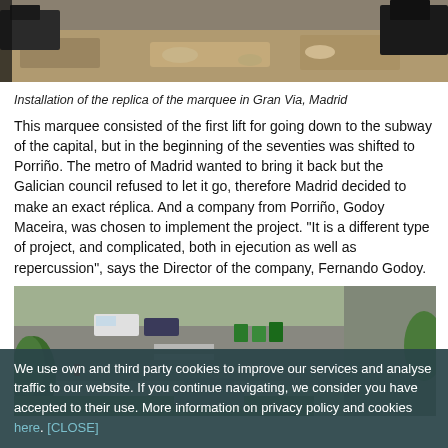[Figure (photo): Construction site with excavated earth and machinery, top portion of image]
Installation of the replica of the marquee in Gran Via, Madrid
This marquee consisted of the first lift for going down to the subway of the capital, but in the beginning of the seventies was shifted to Porriño. The metro of Madrid wanted to bring it back but the Galician council refused to let it go, therefore Madrid decided to make an exact réplica. And a company from Porriño, Godoy Maceira, was chosen to implement the project. "It is a different type of project, and complicated, both in ejecution as well as repercussion", says the Director of the company, Fernando Godoy.
[Figure (photo): Aerial view of a street with parked vehicles, green bins, trees and a garden area]
We use own and third party cookies to improve our services and analyse traffic to our website. If you continue navigating, we consider you have accepted to their use. More information on privacy policy and cookies here. [CLOSE]